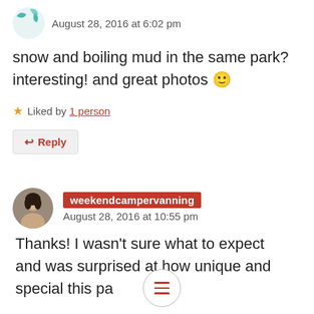[Figure (illustration): Circular avatar icon with teal/blue leaf or wave design, partially cropped at top-left]
August 28, 2016 at 6:02 pm
snow and boiling mud in the same park? interesting! and great photos 🙂
★ Liked by 1 person
↩ Reply
[Figure (photo): Circular avatar photo of a woman with dark hair]
weekendcampervanning
August 28, 2016 at 10:55 pm
Thanks! I wasn't sure what to expect and was surprised at how unique and special this pa…as.